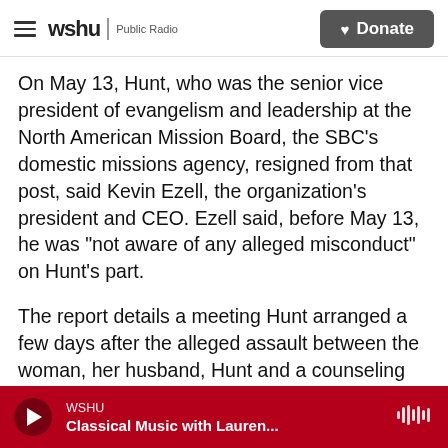wshu | Public Radio  [Donate]
On May 13, Hunt, who was the senior vice president of evangelism and leadership at the North American Mission Board, the SBC's domestic missions agency, resigned from that post, said Kevin Ezell, the organization's president and CEO. Ezell said, before May 13, he was "not aware of any alleged misconduct" on Hunt's part.
The report details a meeting Hunt arranged a few days after the alleged assault between the woman, her husband, Hunt and a counseling pastor. Hunt admitted to touching the victim inappropriately, but said "thank God I didn't consummate the
WSHU | Classical Music with Lauren...